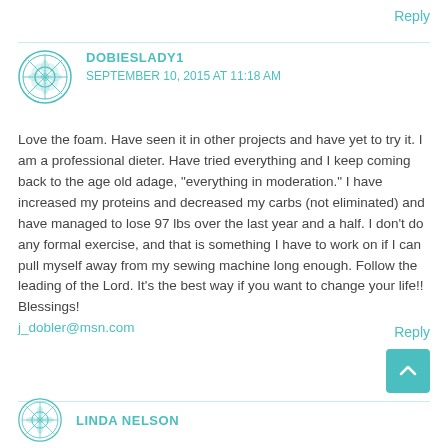Reply
DOBIESLADY1
SEPTEMBER 10, 2015 AT 11:18 AM
Love the foam. Have seen it in other projects and have yet to try it. I am a professional dieter. Have tried everything and I keep coming back to the age old adage, "everything in moderation." I have increased my proteins and decreased my carbs (not eliminated) and have managed to lose 97 lbs over the last year and a half. I don't do any formal exercise, and that is something I have to work on if I can pull myself away from my sewing machine long enough. Follow the leading of the Lord. It's the best way if you want to change your life!! Blessings!
j_dobler@msn.com
Reply
LINDA NELSON